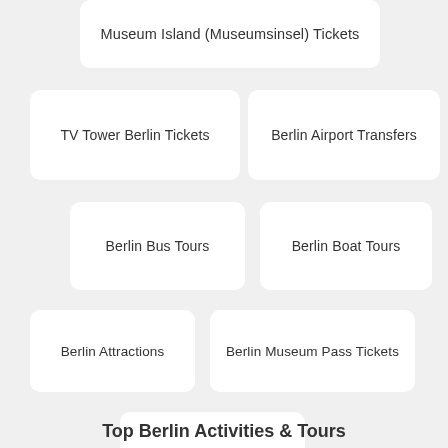Museum Island (Museumsinsel) Tickets
TV Tower Berlin Tickets
Berlin Airport Transfers
Berlin Bus Tours
Berlin Boat Tours
Berlin Attractions
Berlin Museum Pass Tickets
Berlin TV Tower Tickets
Top Berlin Activities & Tours